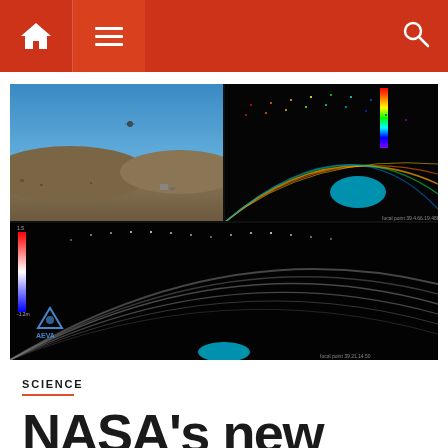NASA science news website navigation bar with home icon, menu icon, and search icon
[Figure (photo): Composite image showing a drone field test scene (top-left: outdoor desert landscape with a drone in the air and equipment on the ground under a blue sky), a LIDAR/point-cloud visualization (top-right: colorful arc-shaped scan of terrain on black background with a teal oval and rainbow color bar), and a larger bottom LIDAR point-cloud view (full-width bottom: grayscale arc-shaped terrain scan with AEVA logo, teal oval, and color temperature bar on left side)]
SCIENCE
NASA's new «l...